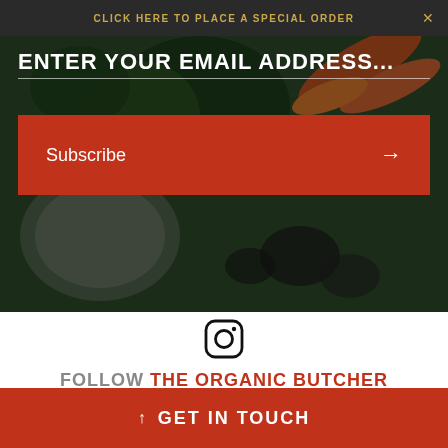CLICK HERE TO PLACE A SPECIAL ORDER
ENTER YOUR EMAIL ADDRESS...
Subscribe →
[Figure (logo): Instagram icon logo]
FOLLOW THE ORGANIC BUTCHER ON INSTAGRAM
↑ GET IN TOUCH